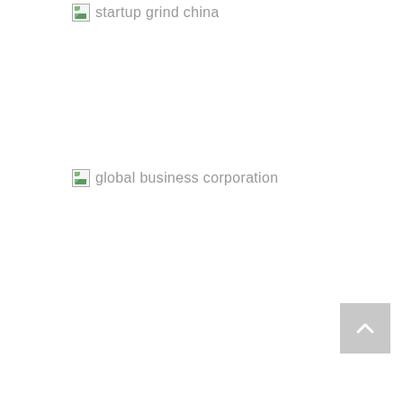[Figure (logo): Broken image placeholder with alt text 'startup grind china']
[Figure (logo): Broken image placeholder with alt text 'global business corporation']
[Figure (other): Back to top button - grey square with upward chevron arrow]